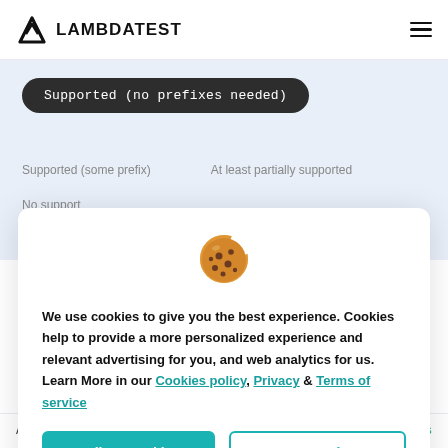LAMBDATEST
Supported (no prefixes needed)
Supported (some prefix)    At least partially supported
No support
[Figure (illustration): Cookie emoji icon]
We use cookies to give you the best experience. Cookies help to provide a more personalized experience and relevant advertising for you, and web analytics for us. Learn More in our Cookies policy, Privacy & Terms of service
Allow Cookie   Cancel
Array.prototype.find    Yes